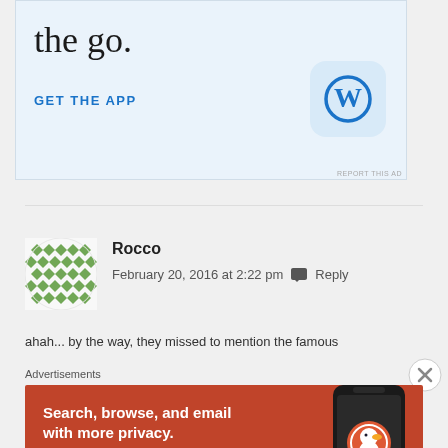[Figure (screenshot): WordPress app advertisement banner with light blue background showing 'the go.' text, 'GET THE APP' link in blue, and WordPress icon]
Rocco
February 20, 2016 at 2:22 pm   Reply
ahah... by the way, they missed to mention the famous
[Figure (screenshot): DuckDuckGo advertisement with orange background: 'Search, browse, and email with more privacy. All in One Free App' with DuckDuckGo logo on phone]